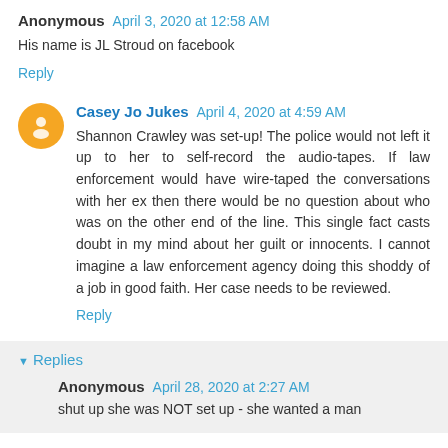Anonymous  April 3, 2020 at 12:58 AM
His name is JL Stroud on facebook
Reply
Casey Jo Jukes  April 4, 2020 at 4:59 AM
Shannon Crawley was set-up! The police would not left it up to her to self-record the audio-tapes. If law enforcement would have wire-taped the conversations with her ex then there would be no question about who was on the other end of the line. This single fact casts doubt in my mind about her guilt or innocents. I cannot imagine a law enforcement agency doing this shoddy of a job in good faith. Her case needs to be reviewed.
Reply
Replies
Anonymous  April 28, 2020 at 2:27 AM
shut up she was NOT set up - she wanted a man